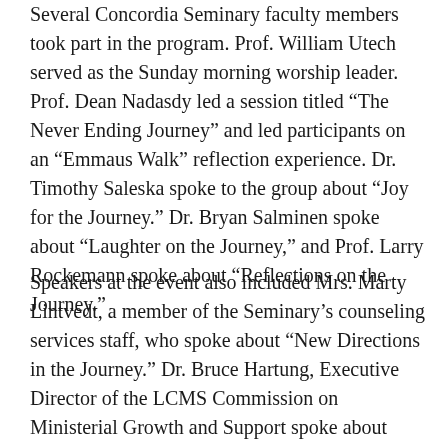Several Concordia Seminary faculty members took part in the program. Prof. William Utech served as the Sunday morning worship leader. Prof. Dean Nadasdy led a session titled “The Never Ending Journey” and led participants on an “Emmaus Walk” reflection experience. Dr. Timothy Saleska spoke to the group about “Joy for the Journey.” Dr. Bryan Salminen spoke about “Laughter on the Journey,” and Prof. Larry Rockemann spoke about “Reflections on the Journey.”
Speakers at the event also included Mrs. Marty Lintvedt, a member of the Seminary’s counseling services staff, who spoke about “New Directions in the Journey.” Dr. Bruce Hartung, Executive Director of the LCMS Commission on Ministerial Growth and Support spoke about “Wellness on the Journey”, and Rev. Joel Hempel, Director of Clinical Pastoral Education at Laclede Groves Retirement Community in St. Louis spoke about “Faith